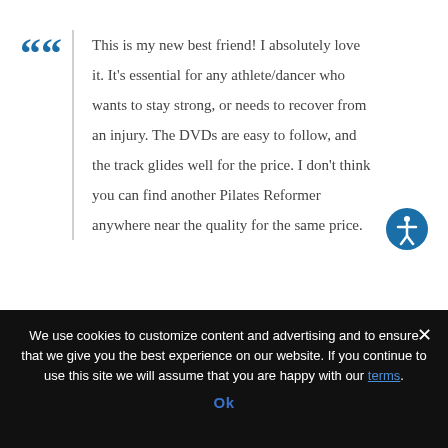This is my new best friend! I absolutely love it. It's essential for any athlete/dancer who wants to stay strong, or needs to recover from an injury. The DVDs are easy to follow, and the track glides well for the price. I don't think you can find another Pilates Reformer anywhere near the quality for the same price.
We use cookies to customize content and advertising and to ensure that we give you the best experience on our website. If you continue to use this site we will assume that you are happy with our terms.
Ok